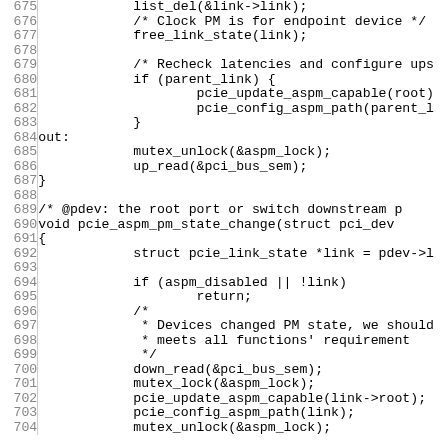[Figure (other): Source code listing (C language) showing lines 675-704 of a Linux kernel PCIe ASPM power management function. Lines include list_del, free_link_state, pcie_update_aspm_capable, pcie_config_aspm_path, mutex operations, and the beginning of pcie_aspm_pm_state_change function.]